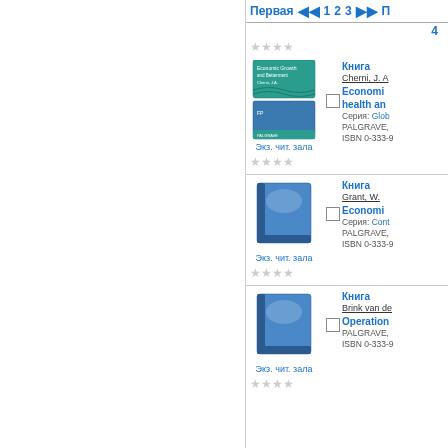Первая  ◄◄  1  2  3  ►► П
4
[Figure (photo): Book cover thumbnail for Economic Growth and Betterment with two stacked images]
Экз. чит. зала
Книга
Cherni, J. A
Economic growth and health an
Серия: Glob
PALGRAVE,
ISBN 0-333-9
[Figure (illustration): Star rating row (empty stars)]
[Figure (photo): Blue book cover placeholder]
Экз. чит. зала
Книга
Grant, W.
Economi
Серия: Cont
PALGRAVE,
ISBN 0-333-9
[Figure (illustration): Star rating row (empty stars)]
[Figure (photo): Blue book cover placeholder]
Экз. чит. зала
Книга
Brink van de
Operation
PALGRAVE,
ISBN 0-333-9
[Figure (illustration): Star rating row (empty stars)]